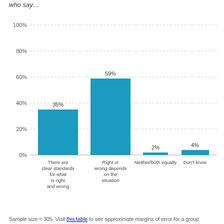who say…
[Figure (bar-chart): ]
Sample size = 305. Visit this table to see approximate margins of error for a group